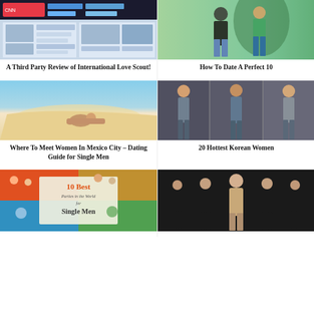[Figure (screenshot): Screenshot of a social media/news website interface showing CNN-like content]
A Third Party Review of International Love Scout!
[Figure (photo): Two people standing outdoors, one in black shirt and jeans, one in green and blue patterned outfit]
How To Date A Perfect 10
[Figure (photo): Woman in bikini lying on a beach with ocean waves in background]
Where To Meet Women In Mexico City – Dating Guide for Single Men
[Figure (photo): Collage of three women in lingerie/swimwear poses]
20 Hottest Korean Women
[Figure (photo): Book cover collage showing '10 Best Parties in the World for Single Men' with festival/party photos]
[Figure (photo): Group of women in dark lingerie posing on dark background]